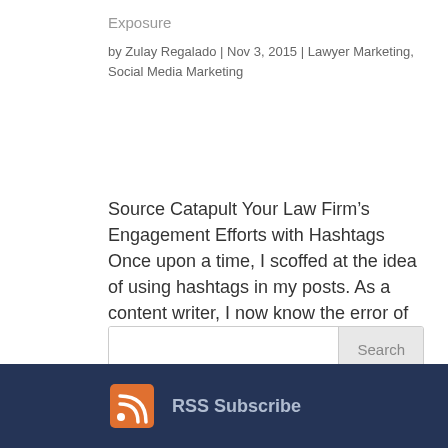Exposure
by Zulay Regalado | Nov 3, 2015 | Lawyer Marketing, Social Media Marketing
Source Catapult Your Law Firm’s Engagement Efforts with Hashtags Once upon a time, I scoffed at the idea of using hashtags in my posts. As a content writer, I now know the error of my once skeptical ways. Initial mistrust aside, I was unsure of how this strategy...
Search
RSS Subscribe